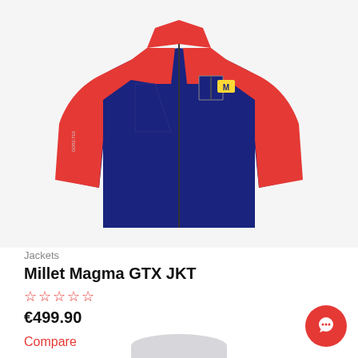[Figure (photo): Red and navy blue Millet Magma GTX JKT jacket displayed on white/light grey background, showing torso view with zipper front, chest pocket, and Millet logo badge.]
Jackets
Millet Magma GTX JKT
★★★★★ (empty stars rating)
€499.90
Compare